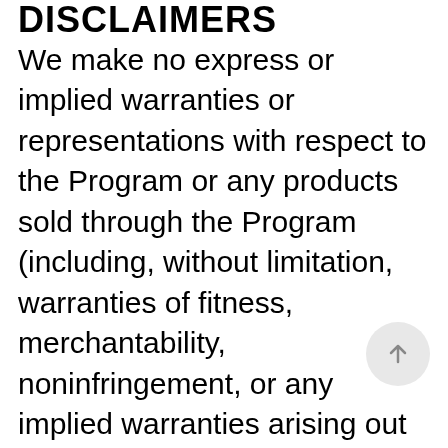DISCLAIMERS
We make no express or implied warranties or representations with respect to the Program or any products sold through the Program (including, without limitation, warranties of fitness, merchantability, noninfringement, or any implied warranties arising out of a course of performance, dealing, or trade usage). In addition, we make no representation that the operation of the Property will be uninterrupted or error-free, and we will not be liable for the consequences of any